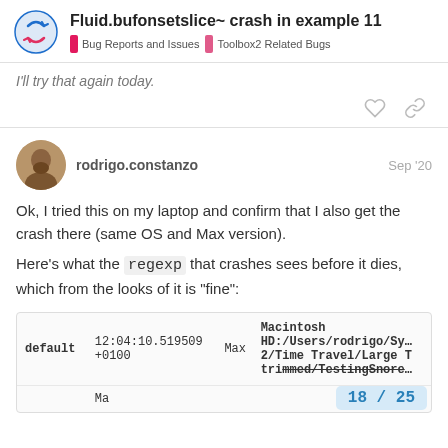Fluid.bufonsetslice~ crash in example 11 | Bug Reports and Issues | Toolbox2 Related Bugs
I'll try that again today.
rodrigo.constanzo   Sep '20
Ok, I tried this on my laptop and confirm that I also get the crash there (same OS and Max version).
Here's what the regexp that crashes sees before it dies, which from the looks of it is "fine":
| default | 12:04:10.519509 +0100 | Max | Macintosh HD:/Users/rodrigo/Sy... 2/Time Travel/Large T trimmed/TestingSnore... |
|  | Ma |  |  |
18 / 25